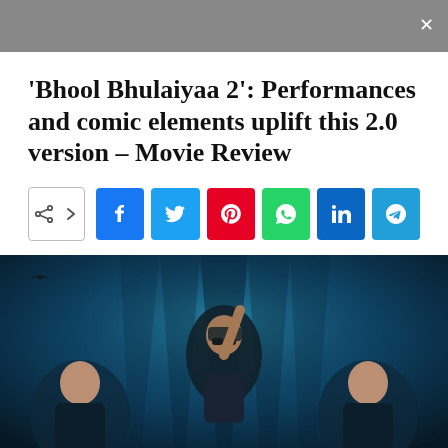'Bhool Bhulaiyaa 2': Performances and comic elements uplift this 2.0 version – Movie Review
[Figure (infographic): Social media share buttons row: native share button with < icon and arrow, followed by Facebook (f), Twitter (bird), Pinterest (p), WhatsApp (phone), LinkedIn (in), Telegram (paper plane) buttons]
[Figure (photo): Movie poster for Bhool Bhulaiyaa 2 showing three actors in dark blue/teal atmospheric background – a woman on the left, a man in the center wearing a bandana and sunglasses with one arm raised, and a woman on the right. Dark moody horror-comedy aesthetic with blue lighting.]